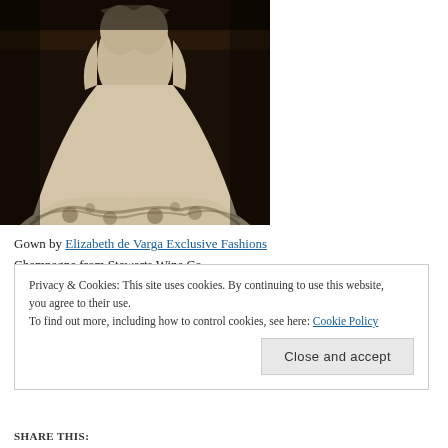[Figure (photo): A woman wearing an elegant champagne/ivory wedding gown with floral lace applique detail along the hem and bodice, photographed against a dark background. The dress has a long train spread on the floor.]
Gown by Elizabeth de Varga Exclusive Fashions
Champagne from Stewarts Wine Co.
Privacy & Cookies: This site uses cookies. By continuing to use this website, you agree to their use.
To find out more, including how to control cookies, see here: Cookie Policy
Close and accept
SHARE THIS: